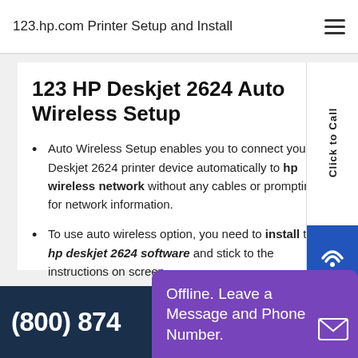123.hp.com Printer Setup and Install
123 HP Deskjet 2624 Auto Wireless Setup
Auto Wireless Setup enables you to connect your HP Deskjet 2624 printer device automatically to hp wireless network without any cables or prompting for network information.
To use auto wireless option, you need to install the hp deskjet 2624 software and stick to the instructions on screen.
(800) 874
Offline. Leave a Message and Phone Number.